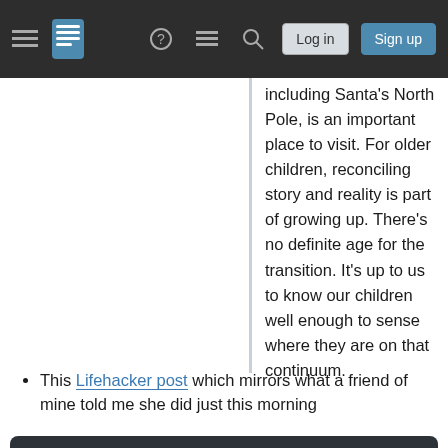Stack Exchange navigation bar with hamburger menu, logo, help, chat, search icons, Log in and Sign up buttons
including Santa's North Pole, is an important place to visit. For older children, reconciling story and reality is part of growing up. There's no definite age for the transition. It's up to us to know our children well enough to sense where they are on that continuum.
This Lifehacker post which mirrors what a friend of mine told me she did just this morning
Your privacy
By clicking "Accept all cookies", you agree Stack Exchange can store cookies on your device and disclose information in accordance with our Cookie Policy.
Accept all cookies   Customize settings